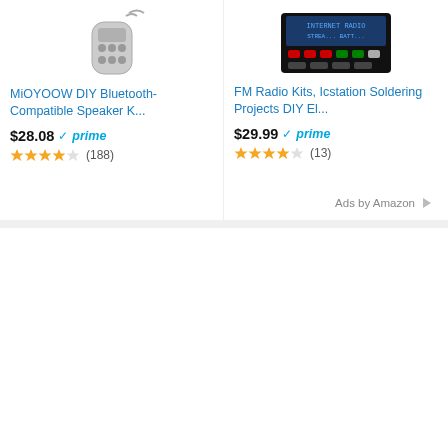[Figure (photo): Amazon product listing: MiOYOOW DIY Bluetooth-Compatible Speaker Kit with remote control image, price $28.08, Prime, 4 stars, 188 reviews]
[Figure (photo): Amazon product listing: FM Radio Kits, Icstation Soldering Projects DIY Electronics kit image, price $29.99, Prime, 4 stars, 13 reviews]
Ads by Amazon
[Figure (infographic): CMMC cybersecurity advertisement banner with social media sidebar buttons (Google+, Facebook, LinkedIn, Twitter, People, StumbleUpon). Banner text: 'Prepare for CMMC' and 'Get a FREE Report and Cyber Risk Profile Score']